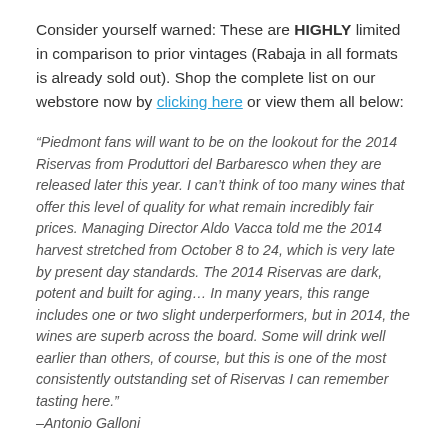Consider yourself warned: These are HIGHLY limited in comparison to prior vintages (Rabaja in all formats is already sold out). Shop the complete list on our webstore now by clicking here or view them all below:
“Piedmont fans will want to be on the lookout for the 2014 Riservas from Produttori del Barbaresco when they are released later this year. I can’t think of too many wines that offer this level of quality for what remain incredibly fair prices. Managing Director Aldo Vacca told me the 2014 harvest stretched from October 8 to 24, which is very late by present day standards. The 2014 Riservas are dark, potent and built for aging… In many years, this range includes one or two slight underperformers, but in 2014, the wines are superb across the board. Some will drink well earlier than others, of course, but this is one of the most consistently outstanding set of Riservas I can remember tasting here.” –Antonio Galloni